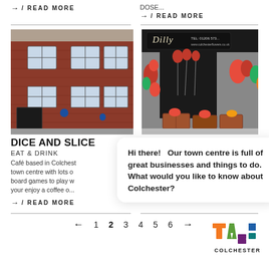→ / READ MORE
DOSE...
→ / READ MORE
[Figure (photo): Red brick building with multiple windows, black door on the left — Dice and Slice cafe in Colchester town centre]
[Figure (photo): Dilly flower shop front with colourful flowers and decorations, TEL: 01206 573... www.colchesterflowers.co.uk sign]
DICE AND SLICE
EAT & DRINK
Café based in Colchester town centre with lots of board games to play while your enjoy a coffee o...
Hi there!   Our town centre is full of great businesses and things to do. What would you like to know about Colchester?
Dill...
→ / READ MORE
→ / READ MORE
← 1 2 3 4 5 6 →